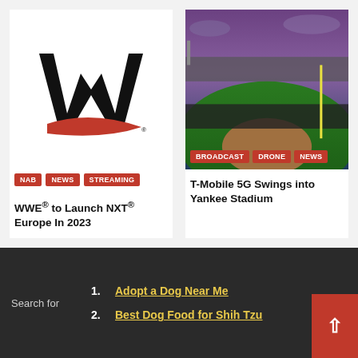[Figure (logo): WWE logo — bold black W shape with red swoosh underneath and registered trademark symbol]
NAB
News
Streaming
WWE® to Launch NXT® Europe In 2023
[Figure (photo): Aerial view of Yankee Stadium baseball field at dusk with crowd of spectators visible]
Broadcast
Drone
News
T-Mobile 5G Swings into Yankee Stadium
Search for
1. Adopt a Dog Near Me
2. Best Dog Food for Shih Tzu